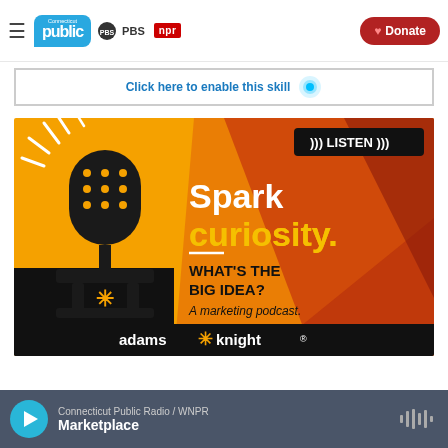Connecticut Public | PBS | NPR — Donate
[Figure (screenshot): Connecticut Public (PBS/NPR) website header with hamburger menu, logo, PBS and NPR badges, and red Donate button]
Click here to enable this skill
[Figure (illustration): Adams & Knight marketing podcast advertisement: orange and red background with a retro microphone graphic, text 'Spark curiosity. WHAT'S THE BIG IDEA? A marketing podcast. adams*knight®' and a LISTEN badge in the top right corner]
Connecticut Public Radio / WNPR — Marketplace